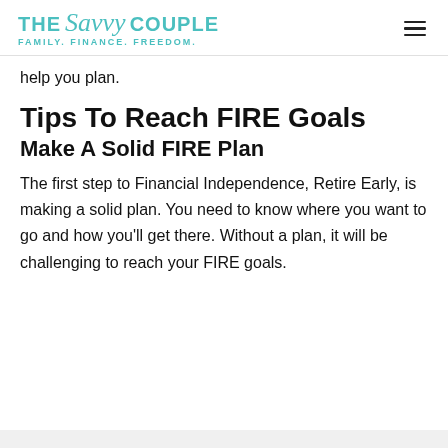THE Savvy COUPLE FAMILY. FINANCE. FREEDOM.
help you plan.
Tips To Reach FIRE Goals
Make A Solid FIRE Plan
The first step to Financial Independence, Retire Early, is making a solid plan. You need to know where you want to go and how you'll get there. Without a plan, it will be challenging to reach your FIRE goals.